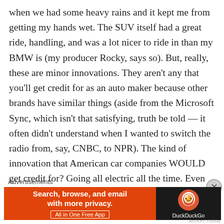when we had some heavy rains and it kept me from getting my hands wet. The SUV itself had a great ride, handling, and was a lot nicer to ride in than my BMW is (my producer Rocky, says so). But, really, these are minor innovations. They aren't any that you'll get credit for as an auto maker because other brands have similar things (aside from the Microsoft Sync, which isn't that satisfying, truth be told — it often didn't understand when I wanted to switch the radio from, say, CNBC, to NPR). The kind of innovation that American car companies WOULD get credit for? Going all electric all the time. Even GM here, with its Chevy Volt, is coming too late to the marketplace to get all
Advertisements
[Figure (other): DuckDuckGo advertisement banner: orange left panel with text 'Search, browse, and email with more privacy. All in One Free App', dark right panel with DuckDuckGo logo and text 'DuckDuckGo']